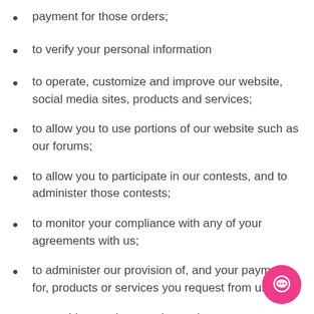payment for those orders;
to verify your personal information
to operate, customize and improve our website, social media sites, products and services;
to allow you to use portions of our website such as our forums;
to allow you to participate in our contests, and to administer those contests;
to monitor your compliance with any of your agreements with us;
to administer our provision of, and your payment for, products or services you request from us;
to provide newsletters, electronic messages a information you request from us;